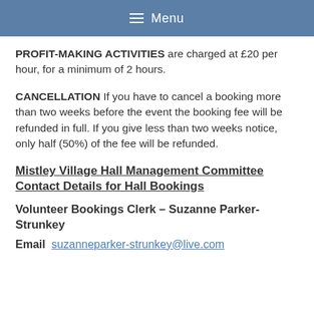≡ Menu
PROFIT-MAKING ACTIVITIES are charged at £20 per hour, for a minimum of 2 hours.
CANCELLATION If you have to cancel a booking more than two weeks before the event the booking fee will be refunded in full. If you give less than two weeks notice, only half (50%) of the fee will be refunded.
Mistley Village Hall Management Committee Contact Details for Hall Bookings
Volunteer Bookings Clerk – Suzanne Parker-Strunkey
Email  suzanneparker-strunkey@live.com